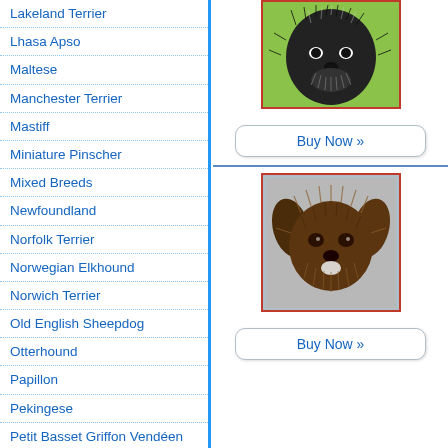Lakeland Terrier
Lhasa Apso
Maltese
Manchester Terrier
Mastiff
Miniature Pinscher
Mixed Breeds
Newfoundland
Norfolk Terrier
Norwegian Elkhound
Norwich Terrier
Old English Sheepdog
Otterhound
Papillon
Pekingese
Petit Basset Griffon Vendéen
Pit Bull Terrier
Pointer
Pomeranian
Poodle
Portuguese Water Dog
[Figure (illustration): Illustrated portrait of a shaggy-faced dog (likely Lhasa Apso or similar breed), black and white rendering on green background, red border frame.]
Buy Now »
[Figure (illustration): Illustrated portrait of a scruffy brown-toned dog with floppy ears on a gray background, red border frame.]
Buy Now »